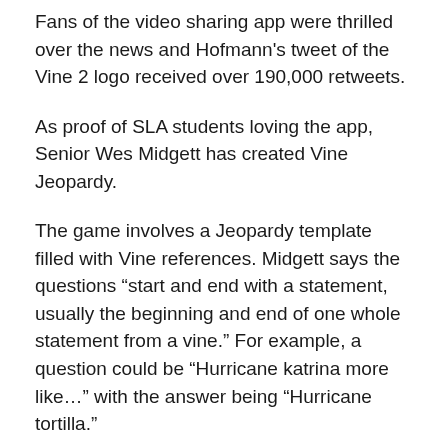Fans of the video sharing app were thrilled over the news and Hofmann's tweet of the Vine 2 logo received over 190,000 retweets.
As proof of SLA students loving the app, Senior Wes Midgett has created Vine Jeopardy.
The game involves a Jeopardy template filled with Vine references. Midgett says the questions “start and end with a statement, usually the beginning and end of one whole statement from a vine.” For example, a question could be “Hurricane katrina more like…” with the answer being “Hurricane tortilla.”
According to Midgett, Vine Jeopardy was started